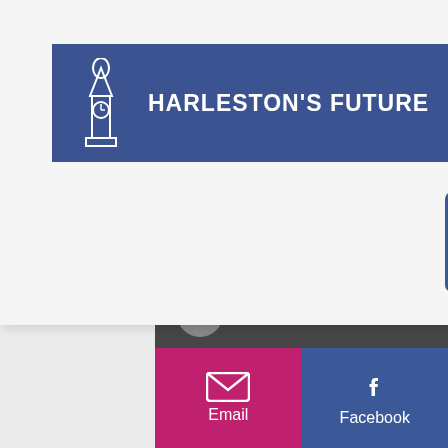[Figure (screenshot): Navigation overlay with Harleston's Future logo bar (blue background, clock tower icon, white text), a circular blue hamburger menu button, and a blue Facebook square icon]
cottage for up to 4 people. Pets are welcome at no charge. Purpose built kennels with runs available should you wish to leave your pet for a short time whilst you sight see, shop or eat in one of the local pubs.
© Harleston's Future
Email
Facebook